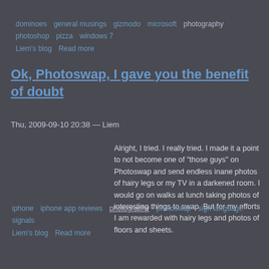dominoes   general musings   gizmodo   microsoft   photography   photoshop   pizza   windows 7
Liem's blog   Read more
Ok, Photoswap, I gave you the benefit of doubt
Thu, 2009-09-10 20:38 — Liem
Alright, I tried. I really tried. I made it a point to not become one of "those guys" on Photoswap and send endless inane photos of hairy legs or my TV in a darkened room. I would go on walks at lunch taking photos of interesting things to swap. But for my efforts I am rewarded with hairy legs and photos of floors and sheets.
iphone   iphone app reviews   photography   photoswap   sign language   signals
Liem's blog   Read more